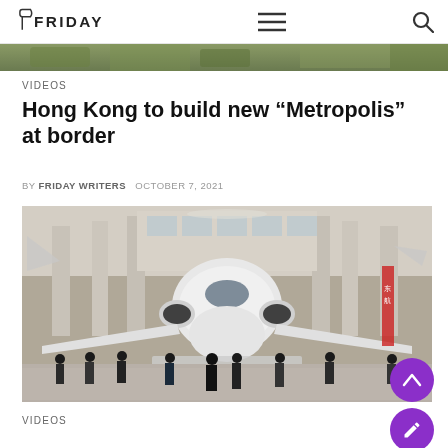FRIDAY — navigation bar with logo, menu and search icons
[Figure (photo): Top partial image strip showing green/natural background, cropped at top of page]
VIDEOS
Hong Kong to build new “Metropolis” at border
BY FRIDAY WRITERS   OCTOBER 7, 2021
[Figure (photo): Interior of a large building resembling an aviation museum or airport hall, with a large white commercial aircraft on display. People are visible in the foreground walking around the aircraft. The building has tall columns and classical architectural details.]
VIDEOS